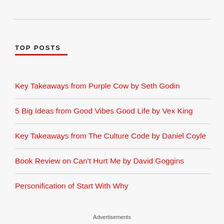TOP POSTS
Key Takeaways from Purple Cow by Seth Godin
5 Big Ideas from Good Vibes Good Life by Vex King
Key Takeaways from The Culture Code by Daniel Coyle
Book Review on Can't Hurt Me by David Goggins
Personification of Start With Why
Advertisements